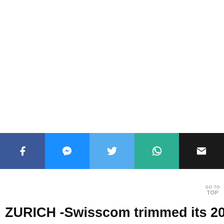[Figure (infographic): Social media sharing buttons bar: Facebook (dark blue), Messenger (blue), Twitter (light blue), WhatsApp (teal/green), Email (black), each with respective icon in white]
ZURICH -Swisscom trimmed its 2021
GO TO TOP